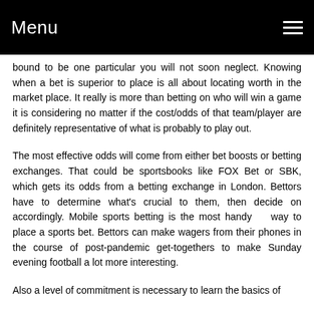Menu
bound to be one particular you will not soon neglect. Knowing when a bet is superior to place is all about locating worth in the market place. It really is more than betting on who will win a game it is considering no matter if the cost/odds of that team/player are definitely representative of what is probably to play out.
The most effective odds will come from either bet boosts or betting exchanges. That could be sportsbooks like FOX Bet or SBK, which gets its odds from a betting exchange in London. Bettors have to determine what’s crucial to them, then decide on accordingly. Mobile sports betting is the most handy way to place a sports bet. Bettors can make wagers from their phones in the course of post-pandemic get-togethers to make Sunday evening football a lot more interesting.
Also a level of commitment is necessary to learn the basics of